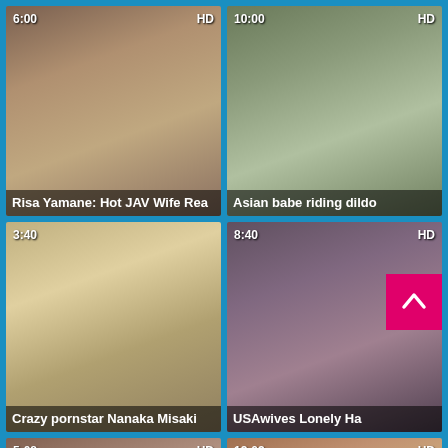[Figure (screenshot): Video thumbnail grid showing adult video website with 6 thumbnails in a 2-column layout on a blue background]
Risa Yamane: Hot JAV Wife Rea
Asian babe riding dildo
Crazy pornstar Nanaka Misaki
USAwives Lonely Ha...re
5:08 HD
12:02 HD